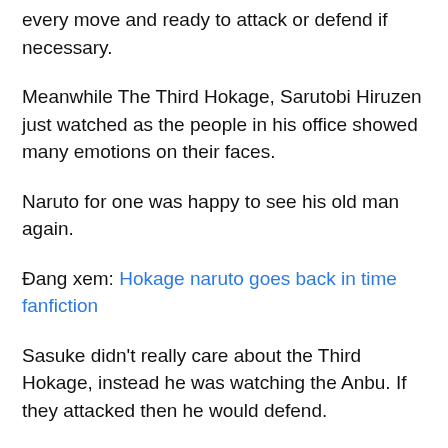every move and ready to attack or defend if necessary.
Meanwhile The Third Hokage, Sarutobi Hiruzen just watched as the people in his office showed many emotions on their faces.
Naruto for one was happy to see his old man again.
Đang xem: Hokage naruto goes back in time fanfiction
Sasuke didn't really care about the Third Hokage, instead he was watching the Anbu. If they attacked then he would defend.
Shikamaru and Sakura were relieved that the